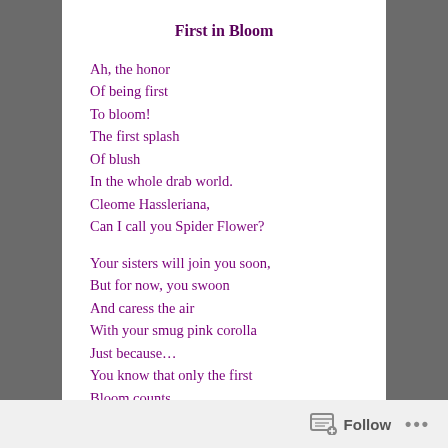First in Bloom
Ah, the honor
Of being first
To bloom!
The first splash
Of blush
In the whole drab world.
Cleome Hassleriana,
Can I call you Spider Flower?
Your sisters will join you soon,
But for now, you swoon
And caress the air
With your smug pink corolla
Just because...
You know that only the first
Bloom counts,